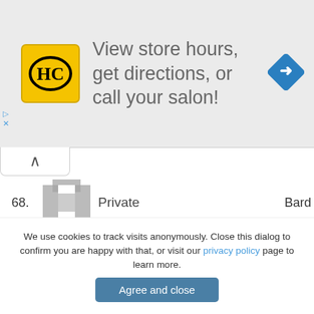[Figure (infographic): Advertisement banner with HC logo, text 'View store hours, get directions, or call your salon!' and a blue diamond arrow icon]
| # | Avatar | Name | Score | Rank | Class |
| --- | --- | --- | --- | --- | --- |
| 68. |  | Private |  |  | Bard |
| 68. |  | Private |  |  | Warr |
| 68. |  | ley | 100 000 | 0 | Knig |
We use cookies to track visits anonymously. Close this dialog to confirm you are happy with that, or visit our privacy policy page to learn more.